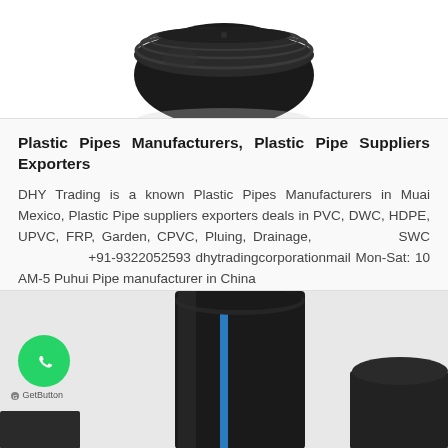[Figure (photo): Black plastic pipe cap/fitting viewed from above, dark background, top portion of image]
Plastic Pipes Manufacturers, Plastic Pipe Suppliers Exporters
DHY Trading is a known Plastic Pipes Manufacturers in Muai Mexico, Plastic Pipe suppliers exporters deals in PVC, DWC, HDPE, UPVC, FRP, Garden, CPVC, Pluing, Drainage, SWC +91-9322052593 dhytradingcorporationmail Mon-Sat: 10 AM-5 Puhui Pipe manufacturer in China
[Figure (photo): Black plastic pipes standing upright with a blue stripe, partial view at bottom of page, WhatsApp GetButton overlay visible]